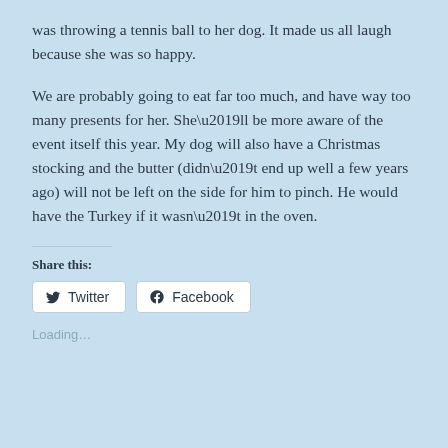was throwing a tennis ball to her dog. It made us all laugh because she was so happy.
We are probably going to eat far too much, and have way too many presents for her. She’ll be more aware of the event itself this year. My dog will also have a Christmas stocking and the butter (didn’t end up well a few years ago) will not be left on the side for him to pinch. He would have the Turkey if it wasn’t in the oven.
Share this:
Twitter
Facebook
Loading…